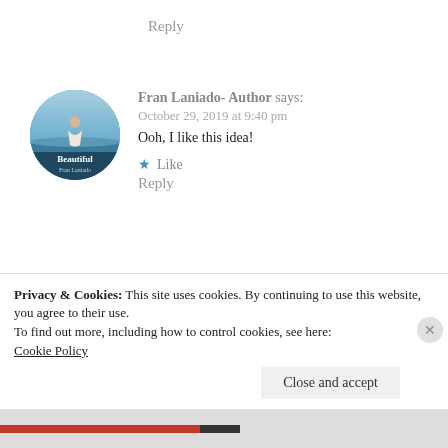Reply
Fran Laniado- Author says:
October 29, 2019 at 9:40 pm
Ooh, I like this idea!
[Figure (photo): Circular avatar showing book cover of 'Beautiful' by Fran Laniado with a figure in a dress against water background]
★ Like
Reply
[Figure (photo): Circular avatar showing a woman's face/photo for Alex @ WhimsyPages]
Alex @ WhimsyPages says:
Privacy & Cookies: This site uses cookies. By continuing to use this website, you agree to their use.
To find out more, including how to control cookies, see here:
Cookie Policy
Close and accept